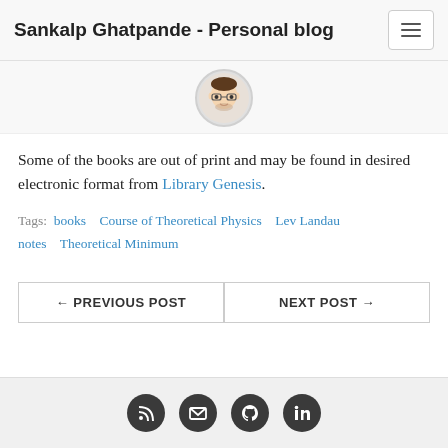Sankalp Ghatpande - Personal blog
[Figure (illustration): Circular avatar illustration of a person wearing glasses]
Some of the books are out of print and may be found in desired electronic format from Library Genesis.
Tags: books  Course of Theoretical Physics  Lev Landau  notes  Theoretical Minimum
← PREVIOUS POST    NEXT POST →
[Figure (illustration): Footer social media icons: RSS, email, GitHub, LinkedIn]